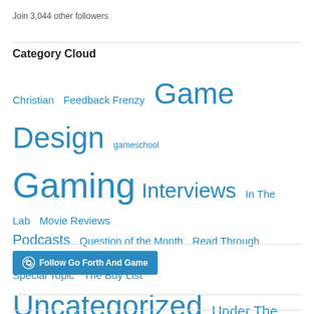Join 3,044 other followers
Category Cloud
Christian  Feedback Frenzy  Game Design  gameschool  Gaming  Interviews  In The Lab  Movie Reviews  Podcasts  Question of the Month  Read Through Reviews  reviews  Special Topic  The Buy List  Uncategorized  Under The Microscope - Reviews
[Figure (other): Follow Go Forth And Game WordPress follow button]